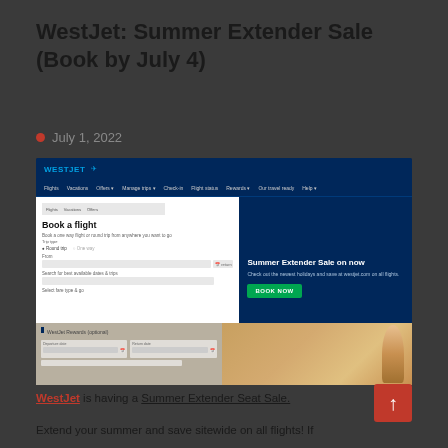WestJet: Summer Extender Sale (Book by July 4)
July 1, 2022
[Figure (screenshot): WestJet website screenshot showing 'Book a flight' form on the left and 'Summer Extender Sale on now' promotional banner with green 'BOOK NOW' button on the right. Dark navy blue website design.]
[Figure (screenshot): Second WestJet website screenshot strip showing flight booking form fields and a banner with a person in warm lighting.]
WestJet is having a Summer Extender Seat Sale.
Extend your summer and save sitewide on all flights! If